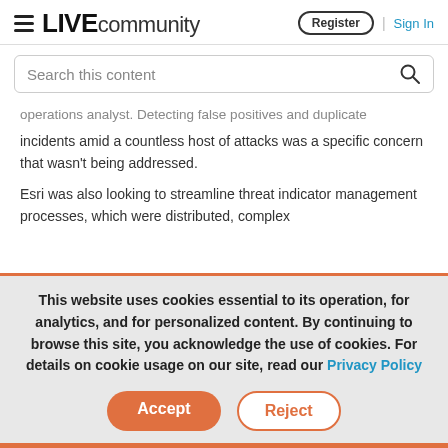LIVE community | Register | Sign In
Search this content
operations analyst. Detecting false positives and duplicate incidents amid a countless host of attacks was a specific concern that wasn't being addressed.
Esri was also looking to streamline threat indicator management processes, which were distributed, complex
This website uses cookies essential to its operation, for analytics, and for personalized content. By continuing to browse this site, you acknowledge the use of cookies. For details on cookie usage on our site, read our Privacy Policy